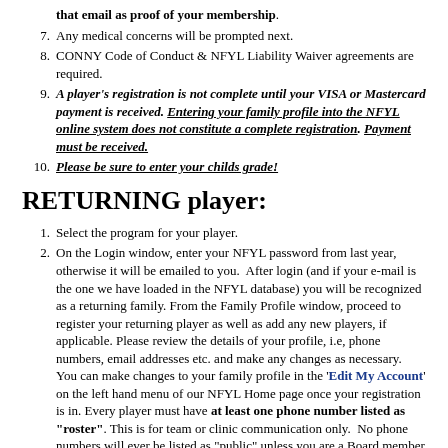that email as proof of your membership.
7. Any medical concerns will be prompted next.
8. CONNY Code of Conduct & NFYL Liability Waiver agreements are required.
9. A player's registration is not complete until your VISA or Mastercard payment is received. Entering your family profile into the NFYL online system does not constitute a complete registration. Payment must be received.
10. Please be sure to enter your childs grade!
RETURNING player:
1. Select the program for your player.
2. On the Login window, enter your NFYL password from last year, otherwise it will be emailed to you. After login (and if your e-mail is the one we have loaded in the NFYL database) you will be recognized as a returning family. From the Family Profile window, proceed to register your returning player as well as add any new players, if applicable. Please review the details of your profile, i.e, phone numbers, email addresses etc. and make any changes as necessary. You can make changes to your family profile in the 'Edit My Account' on the left hand menu of our NFYL Home page once your registration is in. Every player must have at least one phone number listed as "roster". This is for team or clinic communication only. No phone numbers will ever be listed as "public" unless you are a Board member or Head Coach.
3. Your US Lacrosse Membership can be renewed along with your